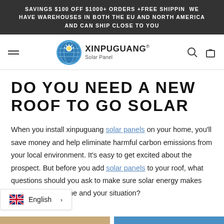SAVINGS $100 OFF $1000+ ORDERS +FREE SHIPPIN WE HAVE WAREHOUSES IN BOTH THE EU AND NORTH AMERICA AND CAN SHIP CLOSE TO YOU
[Figure (logo): XINPUGUANG Solar Panel logo with circular blue globe icon featuring a bright light burst]
DO YOU NEED A NEW ROOF TO GO SOLAR
When you install xinpuguang solar panels on your home, you'll save money and help eliminate harmful carbon emissions from your local environment. It's easy to get excited about the prospect. But before you add solar panels to your roof, what questions should you ask to make sure solar energy makes sense for your home and your situation?
English >